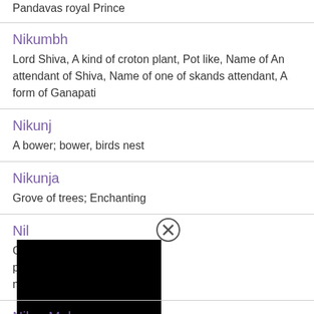Pandavas royal Prince
Nikumbh
Lord Shiva, A kind of croton plant, Pot like, Name of An attendant of Shiva, Name of one of skands attendant, A form of Ganapati
Nikunj
A bower; bower, birds nest
Nikunja
Grove of trees; Enchanting
Nil
Champion, Cloud, Passionate person, Blue, Indigo, Sapphire, mountain
Nilaa Muhan
The one has a moon like face
Nilaaban
Moon